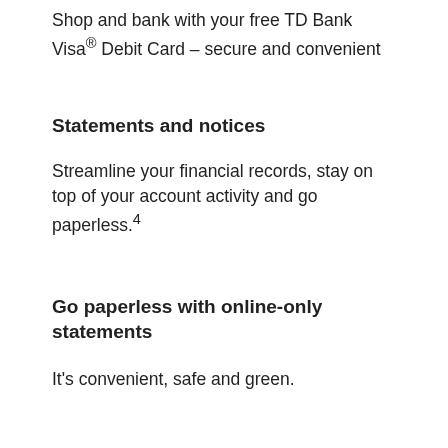Shop and bank with your free TD Bank Visa® Debit Card – secure and convenient
Statements and notices
Streamline your financial records, stay on top of your account activity and go paperless.4
Go paperless with online-only statements
It's convenient, safe and green.